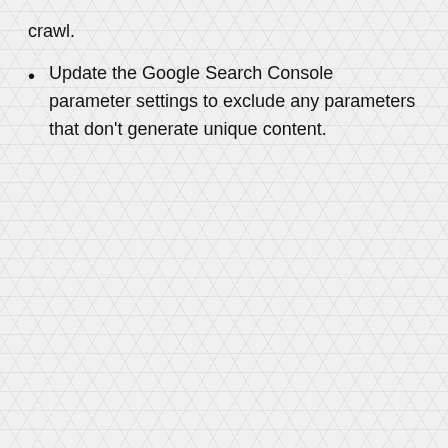crawl.
Update the Google Search Console parameter settings to exclude any parameters that don't generate unique content.